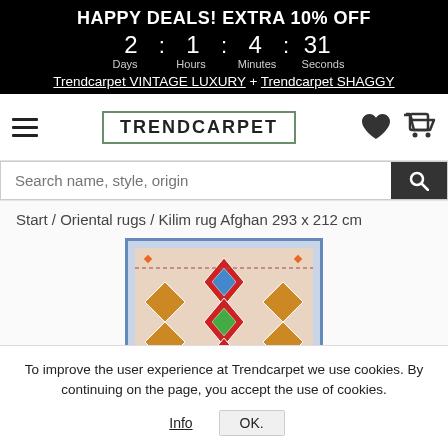HAPPY DEALS! EXTRA 10% OFF 2 : 1 : 4 : 31 Days Hours Minutes Seconds Trendcarpet VINTAGE LUXURY + Trendcarpet SHAGGY
[Figure (logo): Trendcarpet logo with green border and hamburger menu, heart icon and cart icon]
Search name, style, origin
Start / Oriental rugs / Kilim rug Afghan 293 x 212 cm
[Figure (photo): Colorful kilim Afghan rug with geometric diamond patterns in red, blue, green, orange and cream colors]
To improve the user experience at Trendcarpet we use cookies. By continuing on the page, you accept the use of cookies.
Info  OK.